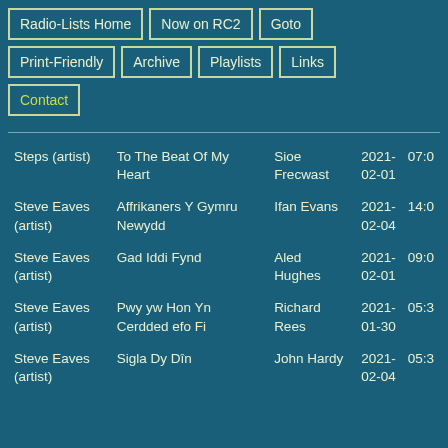Radio-Lists Home
Now on RC2
Goto
Print-Friendly
Archive
Playlists
Links
Contact
| Artist | Track | Programme | Date | Time |
| --- | --- | --- | --- | --- |
| Steps (artist) | To The Beat Of My Heart | Sioe Frecwast | 2021-02-01 | 07:0 |
| Steve Eaves (artist) | Affrikaners Y Gymru Newydd | Ifan Evans | 2021-02-04 | 14:0 |
| Steve Eaves (artist) | Gad Iddi Fynd | Aled Hughes | 2021-02-01 | 09:0 |
| Steve Eaves (artist) | Pwy yw Hon Yn Cerdded efo Fi | Richard Rees | 2021-01-30 | 05:3 |
| Steve Eaves (artist) | Sigla Dy Dîn | John Hardy | 2021-02-04 | 05:3 |